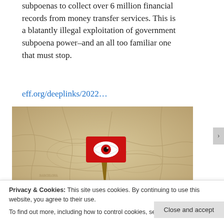subpoenas to collect over 6 million financial records from money transfer services. This is a blatantly illegal exploitation of government subpoena power–and an all too familiar one that must stop.
eff.org/deeplinks/2022…
[Figure (photo): A red flag/pin with a white eye symbol stuck into an old map, photographed with shallow depth of field.]
Privacy & Cookies: This site uses cookies. By continuing to use this website, you agree to their use.
To find out more, including how to control cookies, see here: Cookie Policy
Close and accept